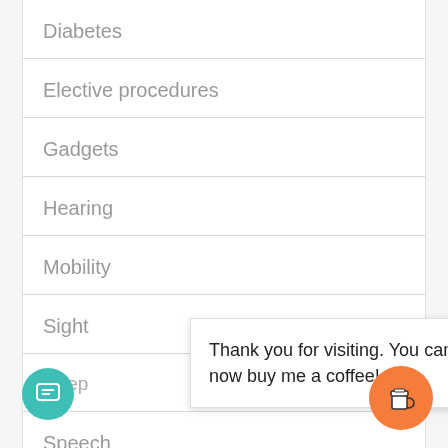Diabetes
Elective procedures
Gadgets
Hearing
Mobility
Sight
sleep
Speech
Thank you for visiting. You can now buy me a coffee!